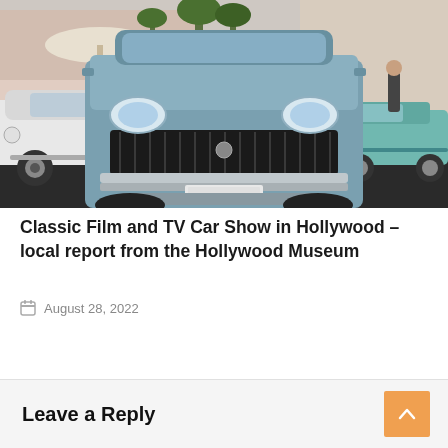[Figure (photo): Photograph of classic cars at a car show in a parking lot. A blue/teal classic car is front and center facing the camera, with a white classic car on the left, a brown woody-style car in the background, and a teal car on the right. People and palm trees are visible in the background along with a building.]
Classic Film and TV Car Show in Hollywood – local report from the Hollywood Museum
August 28, 2022
Leave a Reply